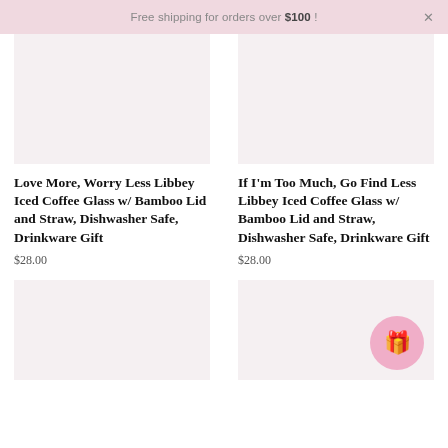Free shipping for orders over $100!
[Figure (photo): Product image placeholder for Love More, Worry Less iced coffee glass]
Love More, Worry Less Libbey Iced Coffee Glass w/ Bamboo Lid and Straw, Dishwasher Safe, Drinkware Gift
$28.00
[Figure (photo): Product image placeholder for If I'm Too Much, Go Find Less iced coffee glass]
If I'm Too Much, Go Find Less Libbey Iced Coffee Glass w/ Bamboo Lid and Straw, Dishwasher Safe, Drinkware Gift
$28.00
[Figure (photo): Product image placeholder, bottom left]
[Figure (photo): Product image placeholder, bottom right with gift badge icon]